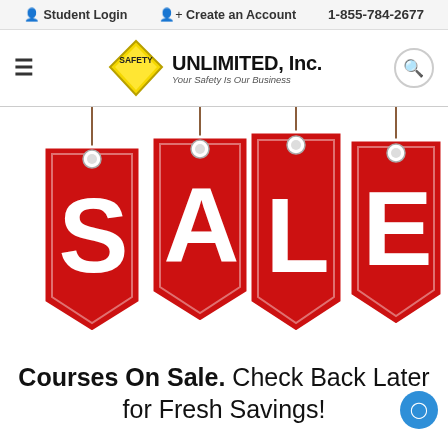Student Login   Create an Account   1-855-784-2677
[Figure (logo): Safety Unlimited Inc. logo with yellow diamond shape and text 'UNLIMITED, Inc. Your Safety Is Our Business']
[Figure (illustration): Four red sale tags hanging from strings spelling out SALE in large white letters]
Courses On Sale. Check Back Later for Fresh Savings!